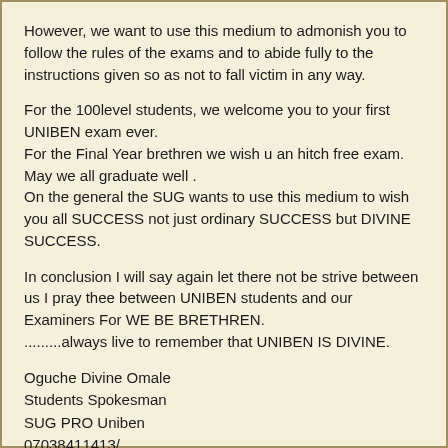However, we want to use this medium to admonish you to follow the rules of the exams and to abide fully to the instructions given so as not to fall victim in any way.
For the 100level students, we welcome you to your first UNIBEN exam ever.
For the Final Year brethren we wish u an hitch free exam.
May we all graduate well .
On the general the SUG wants to use this medium to wish you all SUCCESS not just ordinary SUCCESS but DIVINE SUCCESS.
In conclusion I will say again let there not be strive between us I pray thee between UNIBEN students and our Examiners For WE BE BRETHREN.
.........always live to remember that UNIBEN IS DIVINE.
Oguche Divine Omale
Students Spokesman
SUG PRO Uniben
07038411413/
BBM 56346DE3